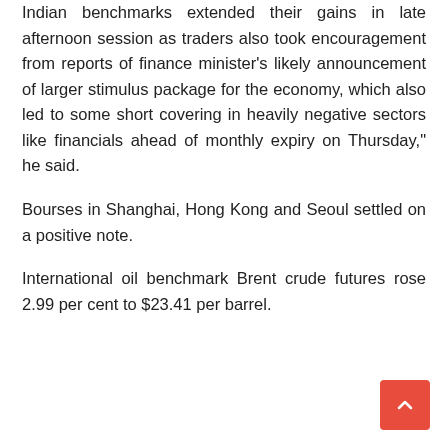Indian benchmarks extended their gains in late afternoon session as traders also took encouragement from reports of finance minister's likely announcement of larger stimulus package for the economy, which also led to some short covering in heavily negative sectors like financials ahead of monthly expiry on Thursday," he said.
Bourses in Shanghai, Hong Kong and Seoul settled on a positive note.
International oil benchmark Brent crude futures rose 2.99 per cent to $23.41 per barrel.